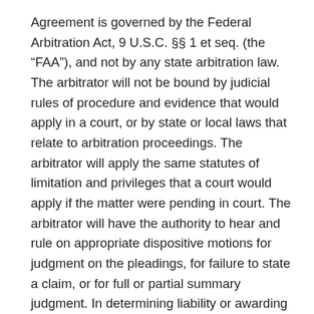Agreement is governed by the Federal Arbitration Act, 9 U.S.C. §§ 1 et seq. (the “FAA”), and not by any state arbitration law. The arbitrator will not be bound by judicial rules of procedure and evidence that would apply in a court, or by state or local laws that relate to arbitration proceedings. The arbitrator will apply the same statutes of limitation and privileges that a court would apply if the matter were pending in court. The arbitrator will have the authority to hear and rule on appropriate dispositive motions for judgment on the pleadings, for failure to state a claim, or for full or partial summary judgment. In determining liability or awarding damages or other relief, the arbitrator will follow the applicable substantive law, consistent with the FAA, that would apply if the matter had